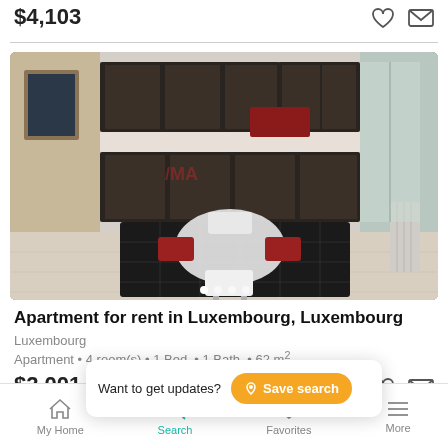$4,103
[Figure (photo): Interior photo of an apartment showing a modern kitchen with dark cabinetry and a dining table with white and red chairs on a black rug. RE/MAX watermark visible.]
Apartment for rent in Luxembourg, Luxembourg
Luxembourg
Apartment • 4 room(s) • 1 Bed. • 1 Bath. • 62 m²
$2,001
Want to get updates?  Save search
My Home  Search  Favorites  More